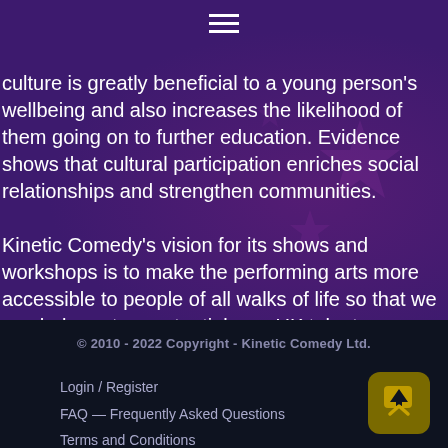[Figure (other): Hamburger menu icon (three horizontal white lines) centered at the top of a dark purple header section]
culture is greatly beneficial to a young person's wellbeing and also increases the likelihood of them going on to further education. Evidence shows that cultural participation enriches social relationships and strengthen communities.

Kinetic Comedy's vision for its shows and workshops is to make the performing arts more accessible to people of all walks of life so that we can help nurture potential new UK talent.
© 2010 - 2022 Copyright - Kinetic Comedy Ltd.
Login / Register
FAQ — Frequently Asked Questions
Terms and Conditions